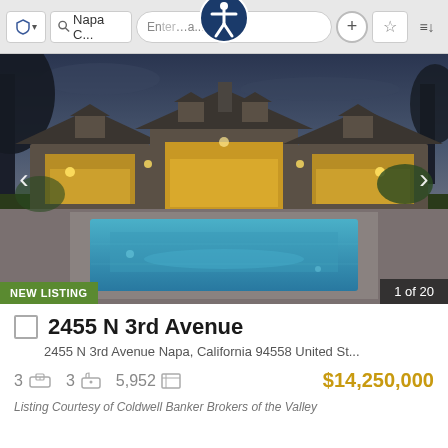Napa C... | Enter search... | + | ☆ | ≡↓
[Figure (photo): Luxury estate home at dusk with lit arched windows and a large rectangular swimming pool in the foreground, surrounded by stone patio. Trees in background. New Listing badge at bottom left. Image counter '1 of 20' at bottom right.]
2455 N 3rd Avenue
2455 N 3rd Avenue Napa, California 94558 United St...
3  [bed icon]  3  [bath icon]  5,952  [sqft icon]  $14,250,000
Listing Courtesy of Coldwell Banker Brokers of the Valley